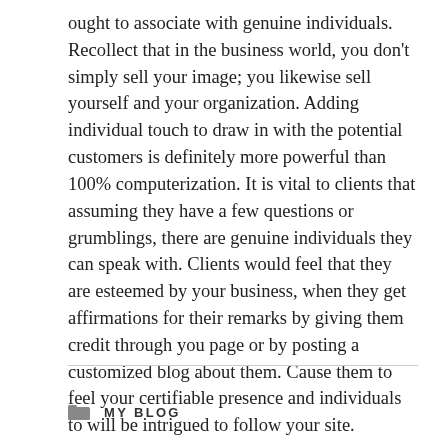ought to associate with genuine individuals. Recollect that in the business world, you don't simply sell your image; you likewise sell yourself and your organization. Adding individual touch to draw in with the potential customers is definitely more powerful than 100% computerization. It is vital to clients that assuming they have a few questions or grumblings, there are genuine individuals they can speak with. Clients would feel that they are esteemed by your business, when they get affirmations for their remarks by giving them credit through you page or by posting a customized blog about them. Cause them to feel your certifiable presence and individuals to will be intrigued to follow your site.
MY BLOG